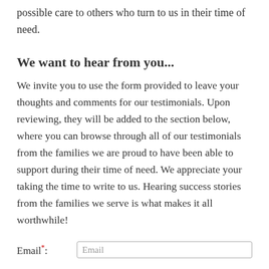possible care to others who turn to us in their time of need.
We want to hear from you...
We invite you to use the form provided to leave your thoughts and comments for our testimonials. Upon reviewing, they will be added to the section below, where you can browse through all of our testimonials from the families we are proud to have been able to support during their time of need. We appreciate your taking the time to write to us. Hearing success stories from the families we serve is what makes it all worthwhile!
Email*: [Email input field]